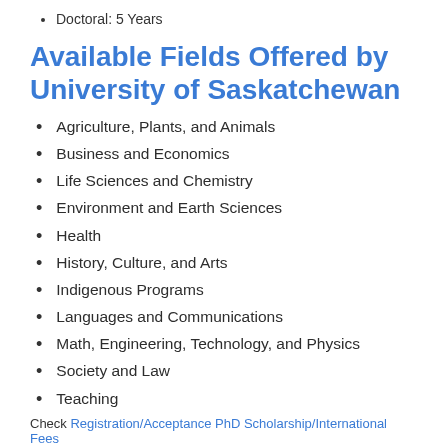Doctoral: 5 Years
Available Fields Offered by University of Saskatchewan
Agriculture, Plants, and Animals
Business and Economics
Life Sciences and Chemistry
Environment and Earth Sciences
Health
History, Culture, and Arts
Indigenous Programs
Languages and Communications
Math, Engineering, Technology, and Physics
Society and Law
Teaching
Check Registration/Acceptance PhD Scholarship/International Fees